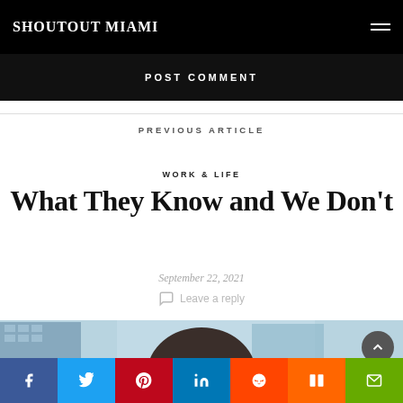SHOUTOUT MIAMI
POST COMMENT
PREVIOUS ARTICLE
WORK & LIFE
What They Know and We Don't
September 22, 2021
Leave a reply
[Figure (photo): Partial top of a person's head with city buildings in background, blurred]